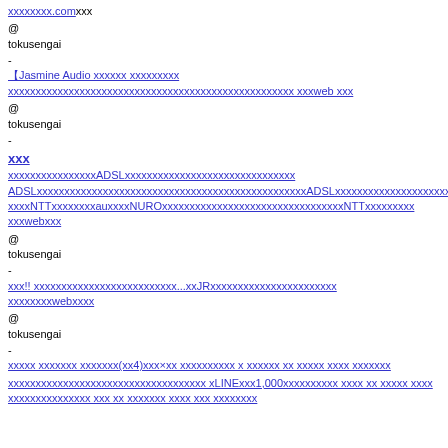xxxxxxxx.comxxx
@
tokusengai
-
【Jasmine Audio xxxxxx xxxxxxxxx xxxxxxxxxxxxxxxxxxxxxxxxxxxxxxxxxxxxxx xxxweb xxx
@
tokusengai
-
xxx
xxxxxxxxxxxxxxxx ADSL xxxxxxxxxxxxxxxxxxxxxxxxx
ADSL xxxxxxxxxxxxxxxxxxxxxxxxxxxxxxxxxxxxxxxxxx ADSL xxxxxxxxxxxxxxxxxxxxxxxxxxx
xxxx NTT xxxxxxxx au xxxx NURO xxxxxxxxxxxxxxxxxxxxxxxxxx NTT xxxxxxxx
xxx web xxx
@
tokusengai
-
xxx!! xxxxxxxxxxxxxxxxxxxxxxxxxx...xx JR xxxxxxxxxxxxxxxx
xxxxxxxx web xxxx
@
tokusengai
-
xxxxx xxxxxxx xxxxxxx(xx4)xxx×xx xxxxxxxxxx x xxxxxx xx xxxxx xxxx xxxxxxx
xxxxxxxxxxxxxxxxxxxxxxxxxxxx xLINEx xx1,000 xxxxxxxxxx xxxx xx xxxxx xxxx xxxxxx xxx xxx xx xxxxxxx xxxx xxx xxxxxxxx